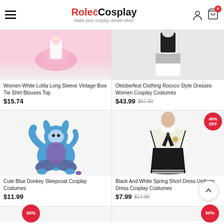RoleCosplay - Make your cosplay dream alive!
[Figure (screenshot): Product image of Women White Lolita Long Sleeve Vintage Bow Tie Shirt Blouses Top - pink tutu at top]
Women White Lolita Long Sleeve Vintage Bow Tie Shirt Blouses Top
$15.74
[Figure (screenshot): Product image of Oktoberfest Clothing Rococo Style Dresses Women Cosplay Costumes - black dress with white apron]
Oktoberfest Clothing Rococo Style Dresses Women Cosplay Costumes
$43.99  $87.90
[Figure (photo): Person wearing Cute Blue Donkey Sleepcoat Cosplay Costume - blue donkey onesie seated on floor]
Cute Blue Donkey Sleepcoat Cosplay Costumes
$11.99
[Figure (photo): Black And White Spring Short Dress Uniform Dress Cosplay Costumes - white blazer with black skirt and tie, 46% OFF badge]
Black And White Spring Short Dress Uniform Dress Cosplay Costumes
$7.99  $14.99